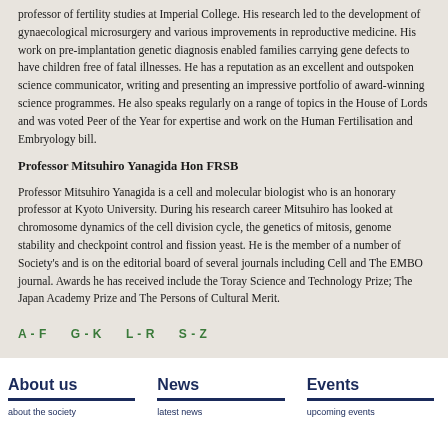professor of fertility studies at Imperial College. His research led to the development of gynaecological microsurgery and various improvements in reproductive medicine. His work on pre-implantation genetic diagnosis enabled families carrying gene defects to have children free of fatal illnesses. He has a reputation as an excellent and outspoken science communicator, writing and presenting an impressive portfolio of award-winning science programmes. He also speaks regularly on a range of topics in the House of Lords and was voted Peer of the Year for expertise and work on the Human Fertilisation and Embryology bill.
Professor Mitsuhiro Yanagida Hon FRSB
Professor Mitsuhiro Yanagida is a cell and molecular biologist who is an honorary professor at Kyoto University. During his research career Mitsuhiro has looked at chromosome dynamics of the cell division cycle, the genetics of mitosis, genome stability and checkpoint control and fission yeast. He is the member of a number of Society's and is on the editorial board of several journals including Cell and The EMBO journal. Awards he has received include the Toray Science and Technology Prize; The Japan Academy Prize and The Persons of Cultural Merit.
A - F
G - K
L - R
S - Z
About us | News | Events